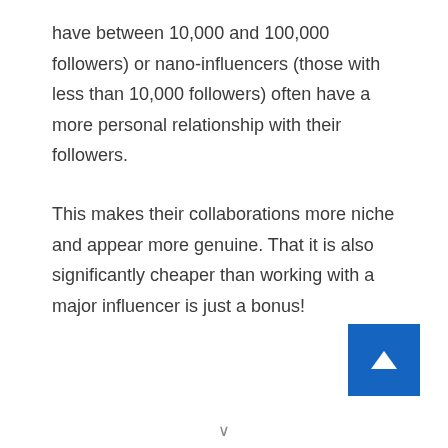have between 10,000 and 100,000 followers) or nano-influencers (those with less than 10,000 followers) often have a more personal relationship with their followers.
This makes their collaborations more niche and appear more genuine. That it is also significantly cheaper than working with a major influencer is just a bonus!